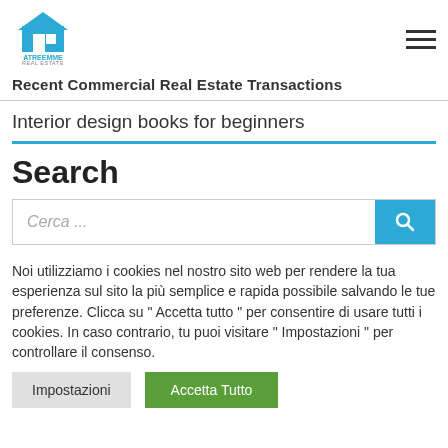[Figure (logo): Atreemme Real Estate logo with house icon and blue text]
Recent Commercial Real Estate Transactions
Interior design books for beginners
Search
Cerca ...
Noi utilizziamo i cookies nel nostro sito web per rendere la tua esperienza sul sito la più semplice e rapida possibile salvando le tue preferenze. Clicca su " Accetta tutto " per consentire di usare tutti i cookies. In caso contrario, tu puoi visitare " Impostazioni " per controllare il consenso.
Impostazioni
Accetta Tutto